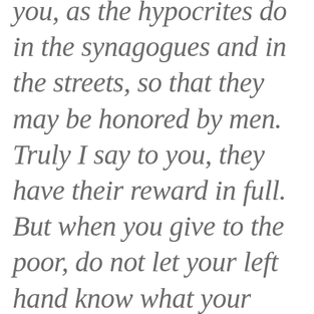you, as the hypocrites do in the synagogues and in the streets, so that they may be honored by men. Truly I say to you, they have their reward in full. But when you give to the poor, do not let your left hand know what your right hand is doing, so that your giving will be